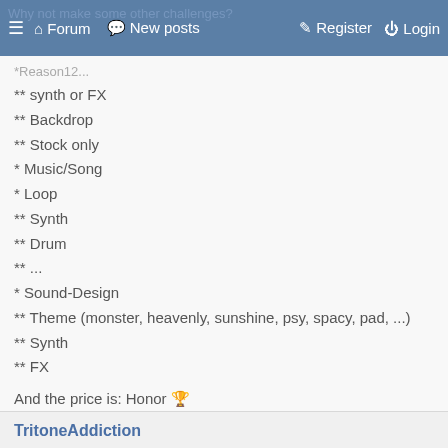Forum   New posts   Register   Login
** synth or FX
** Backdrop
** Stock only
* Music/Song
* Loop
** Synth
** Drum
** ...
* Sound-Design
** Theme (monster, heavenly, sunshine, psy, spacy, pad, ...)
** Synth
** FX
And the price is: Honor 🏆
Reason12, Win10
TritoneAddiction